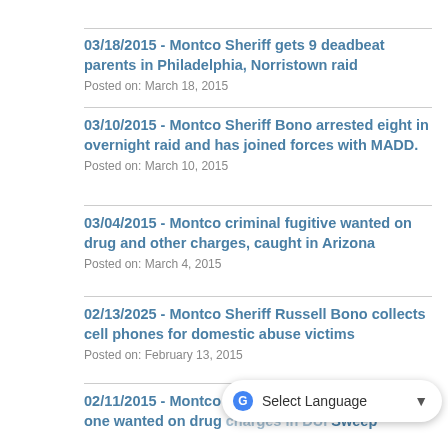03/18/2015 - Montco Sheriff gets 9 deadbeat parents in Philadelphia, Norristown raid
Posted on: March 18, 2015
03/10/2015 - Montco Sheriff Bono arrested eight in overnight raid and has joined forces with MADD.
Posted on: March 10, 2015
03/04/2015 - Montco criminal fugitive wanted on drug and other charges, caught in Arizona
Posted on: March 4, 2015
02/13/2025 - Montco Sheriff Russell Bono collects cell phones for domestic abuse victims
Posted on: February 13, 2015
02/11/2015 - Montco Sheriff gets... "Wanted" and one wanted on drug charges in DUI Sweep